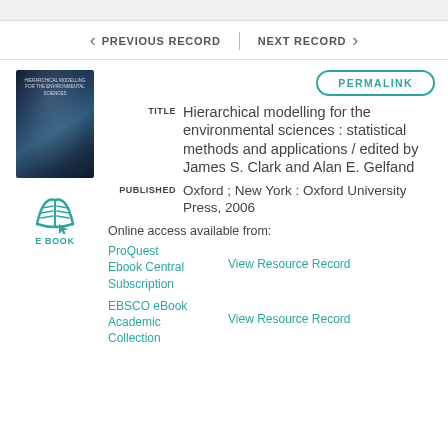PREVIOUS RECORD | NEXT RECORD
[Figure (photo): Book cover image for Hierarchical modelling for the environmental sciences]
[Figure (illustration): E-book icon in teal color with 'E BOOK' label beneath]
PERMALINK
TITLE  Hierarchical modelling for the environmental sciences : statistical methods and applications / edited by James S. Clark and Alan E. Gelfand
PUBLISHED  Oxford ; New York : Oxford University Press, 2006
Online access available from:
ProQuest Ebook Central Subscription  View Resource Record
EBSCO eBook Academic Collection  View Resource Record